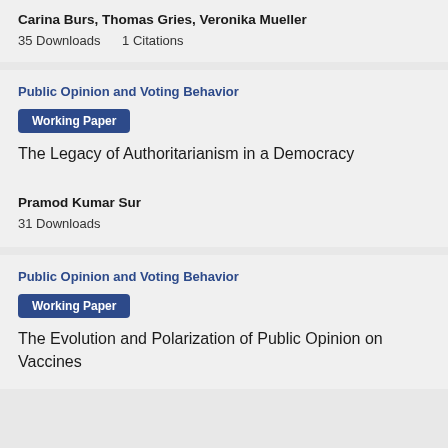Carina Burs, Thomas Gries, Veronika Mueller
35 Downloads    1 Citations
Public Opinion and Voting Behavior
Working Paper
The Legacy of Authoritarianism in a Democracy
Pramod Kumar Sur
31 Downloads
Public Opinion and Voting Behavior
Working Paper
The Evolution and Polarization of Public Opinion on Vaccines